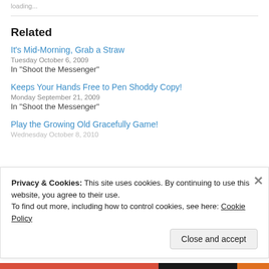loading...
Related
It's Mid-Morning, Grab a Straw
Tuesday October 6, 2009
In "Shoot the Messenger"
Keeps Your Hands Free to Pen Shoddy Copy!
Monday September 21, 2009
In "Shoot the Messenger"
Play the Growing Old Gracefully Game!
Privacy & Cookies: This site uses cookies. By continuing to use this website, you agree to their use.
To find out more, including how to control cookies, see here: Cookie Policy